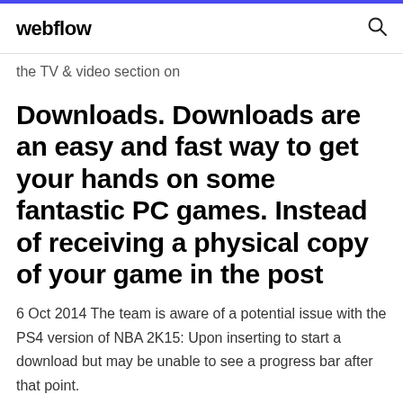webflow
the TV & video section on
Downloads. Downloads are an easy and fast way to get your hands on some fantastic PC games. Instead of receiving a physical copy of your game in the post
6 Oct 2014 The team is aware of a potential issue with the PS4 version of NBA 2K15: Upon inserting to start a download but may be unable to see a progress bar after that point.